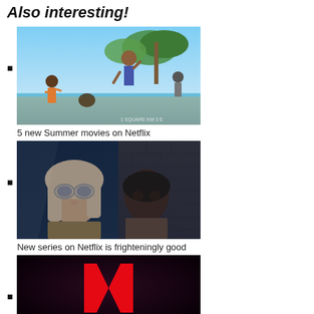Also interesting!
5 new Summer movies on Netflix
New series on Netflix is frighteningly good
(Netflix Games image, partially visible)